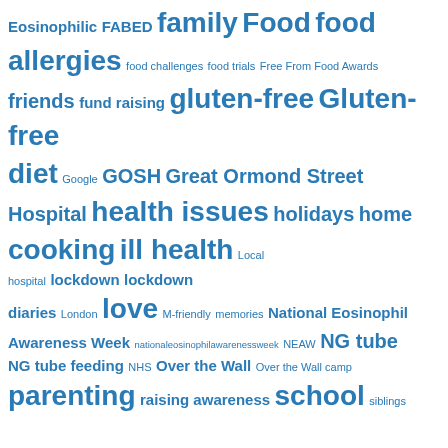[Figure (infographic): A tag cloud / word cloud of health and food allergy related topics. Terms shown in varying font sizes indicating frequency/importance. All text in blue. Terms include: Eosinophilic, FABED, family, Food, food allergies, food challenges, food trials, Free From Food Awards, friends, fund raising, gluten-free, Gluten-free diet, Google, GOSH, Great Ormond Street Hospital, health issues, holidays, home cooking, ill health, Local hospital, lockdown, lockdown diaries, London, love, M-friendly, memories, National Eosinophil Awareness Week, nationaleosinophilawarenessweek, NEAW, NG tube, NG tube feeding, NHS, Over the Wall, Over the Wall camp, parenting, raising awareness, school, siblings]